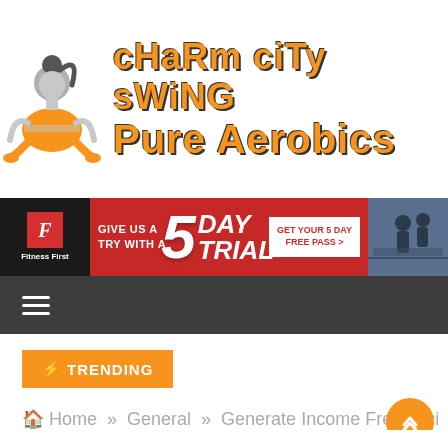[Figure (logo): Charm City Swing Pure Aerobics logo with a yoga meditating figure in orange and grey, and stylized orange text with dark shadow reading 'CHARM CITY SWING Pure Aerobics']
[Figure (infographic): Fitness First banner advertisement: dark background with red section, text 'GIVE US A TRY WITH A 5 DAY TRIAL', button 'GET YOUR 5 DAY FREE PASS >']
[Figure (other): Dark grey navigation bar with hamburger menu icon (three white horizontal lines)]
⚡ TRENDING
Home » General » Generate Income Freelanci...